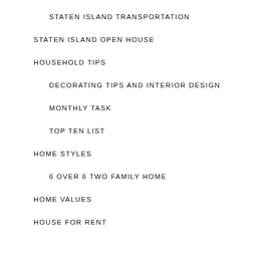STATEN ISLAND TRANSPORTATION
STATEN ISLAND OPEN HOUSE
HOUSEHOLD TIPS
DECORATING TIPS AND INTERIOR DESIGN
MONTHLY TASK
TOP TEN LIST
HOME STYLES
6 OVER 6 TWO FAMILY HOME
HOME VALUES
HOUSE FOR RENT